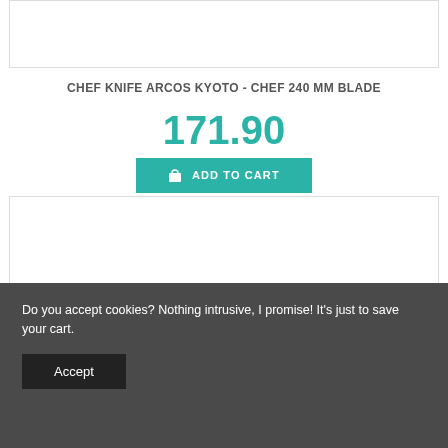[Figure (photo): Top portion of product image area (cropped/partial), white background with border]
CHEF KNIFE ARCOS KYOTO - CHEF 240 MM BLADE
171.90
ADD TO CART
[Figure (photo): Arcos Kyoto Chef knife with dark wood handle and silver rivets, stainless steel blade with ARCOS branding, on white background]
Do you accept cookies? Nothing intrusive, I promise! It's just to save your cart.
Accept